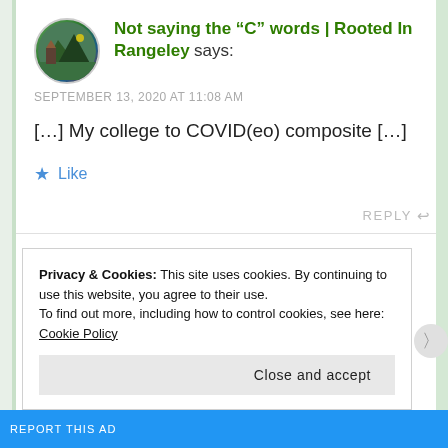Not saying the “C” words | Rooted In Rangeley says:
SEPTEMBER 13, 2020 AT 11:08 AM
[...] My college to COVID(eo) composite [...]
Like
REPLY
Privacy & Cookies: This site uses cookies. By continuing to use this website, you agree to their use.
To find out more, including how to control cookies, see here: Cookie Policy
Close and accept